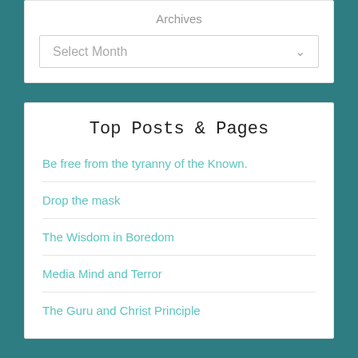Archives
Select Month
Top Posts & Pages
Be free from the tyranny of the Known.
Drop the mask
The Wisdom in Boredom
Media Mind and Terror
The Guru and Christ Principle